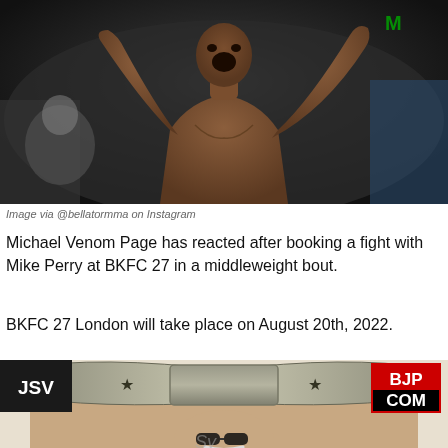[Figure (photo): MMA fighter celebrating with arms raised in victory inside a Bellator MMA cage, crowd visible behind him]
Image via @bellatormma on Instagram
Michael Venom Page has reacted after booking a fight with Mike Perry at BKFC 27 in a middleweight bout.
BKFC 27 London will take place on August 20th, 2022.
[Figure (photo): Person holding up a large championship belt above their head, wearing sunglasses, with JSV badge in top-left corner and BJP.COM logo in top-right corner]